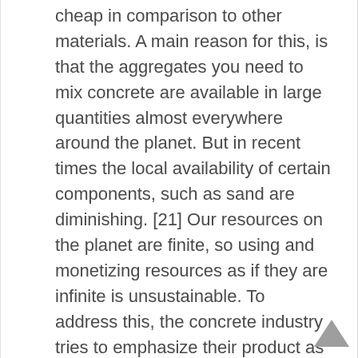cheap in comparison to other materials. A main reason for this, is that the aggregates you need to mix concrete are available in large quantities almost everywhere around the planet. But in recent times the local availability of certain components, such as sand are diminishing. [21] Our resources on the planet are finite, so using and monetizing resources as if they are infinite is unsustainable. To address this, the concrete industry tries to emphasize their product as recyclable, but to make it clear – concrete is not recyclableRecycling means, returning a material into a previous stage of a cyclic process. In case of the mentioned material, this is not completely possible. During calcination, the processing of the raw resource of limestone comes to a point of no return. Once cement is made, the process is irreversible. There is no commercially viable